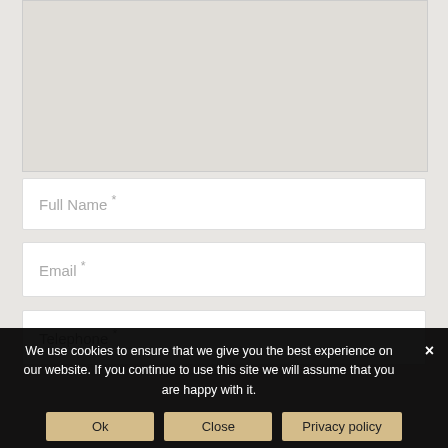[Figure (map): A grey map/background area representing an embedded map widget]
Full Name *
Email *
Telephone *
We use cookies to ensure that we give you the best experience on our website. If you continue to use this site we will assume that you are happy with it.
Ok
Close
Privacy policy
×